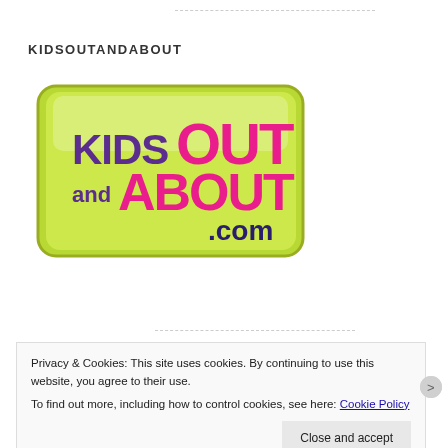KIDSOUTANDABOUT
[Figure (logo): KidsOutAndAbout.com logo — colorful text on a green rounded rectangle background. 'KIDS' in purple bold, 'OUT' in large pink/magenta bold, 'and' in small purple, 'ABOUT' in large pink/magenta bold, '.com' in dark blue/purple smaller text.]
Privacy & Cookies: This site uses cookies. By continuing to use this website, you agree to their use. To find out more, including how to control cookies, see here: Cookie Policy
Close and accept